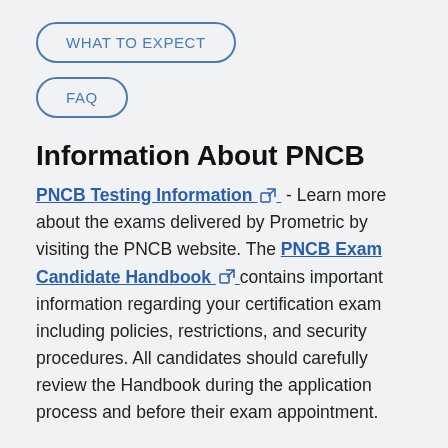WHAT TO EXPECT
FAQ
Information About PNCB
PNCB Testing Information - Learn more about the exams delivered by Prometric by visiting the PNCB website. The PNCB Exam Candidate Handbook contains important information regarding your certification exam including policies, restrictions, and security procedures. All candidates should carefully review the Handbook during the application process and before their exam appointment.